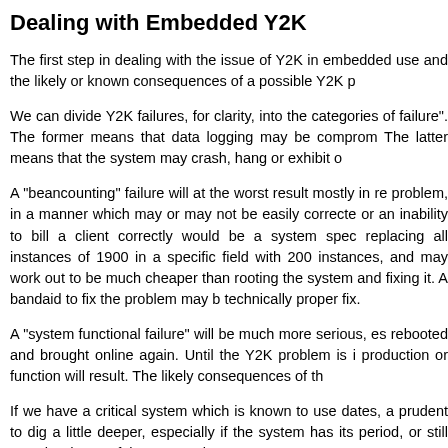Dealing with Embedded Y2K
The first step in dealing with the issue of Y2K in embedded use and the likely or known consequences of a possible Y2K p
We can divide Y2K failures, for clarity, into the categories of failure". The former means that data logging may be comprom The latter means that the system may crash, hang or exhibit o
A "beancounting" failure will at the worst result mostly in re problem, in a manner which may or may not be easily correcte or an inability to bill a client correctly would be a system spec replacing all instances of 1900 in a specific field with 200 instances, and may work out to be much cheaper than rooting the system and fixing it. A bandaid to fix the problem may b technically proper fix.
A "system functional failure" will be much more serious, es rebooted and brought online again. Until the Y2K problem is i production or function will result. The likely consequences of th
If we have a critical system which is known to use dates, a prudent to dig a little deeper, especially if the system has its period, or still uses hardware of that generation.
The next step is to explore what options are available for dete